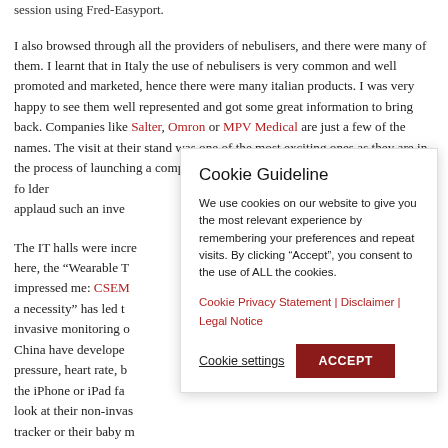session using Fred-Easyport.
I also browsed through all the providers of nebulisers, and there were many of them. I learnt that in Italy the use of nebulisers is very common and well promoted and marketed, hence there were many italian products. I was very happy to see them well represented and got some great information to bring back. Companies like Salter, Omron or MPV Medical are just a few of the names. The visit at their stand was one of the most exciting ones as they are in the process of launching a computer based training game for inhalation therapy for children and they... applaud such an inven...
The IT halls were incre... here, the "Wearable T... impressed me: CSEM... a necessity" has led t... invasive monitoring o... China have develope... pressure, heart rate, b... the iPhone or iPad fa... look at their non-invas... tracker or their baby m...
[Figure (other): Cookie Guideline modal overlay dialog with title 'Cookie Guideline', explanatory text about cookie usage, links to Cookie Privacy Statement, Disclaimer, and Legal Notice, plus Cookie settings and ACCEPT buttons.]